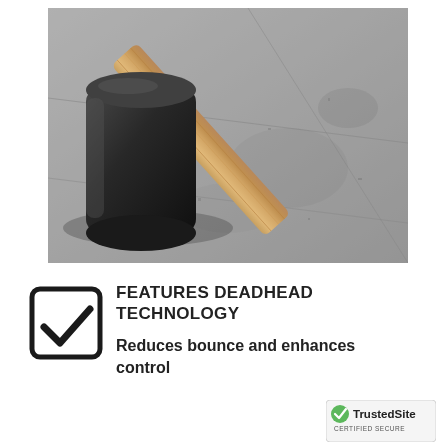[Figure (photo): A rubber mallet with black cylindrical head and wooden handle resting on a grey concrete/stone tiled floor, photographed from above at an angle.]
[Figure (illustration): Checkbox icon with a checkmark inside a rounded square outline, drawn in black.]
FEATURES DEADHEAD TECHNOLOGY
Reduces bounce and enhances control
[Figure (logo): TrustedSite CERTIFIED SECURE badge with green checkmark.]